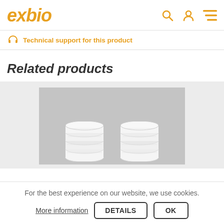exbio
Technical support for this product
Related products
[Figure (photo): Two stacks of white petri dishes on a gray background]
For the best experience on our website, we use cookies.
More information   DETAILS   OK